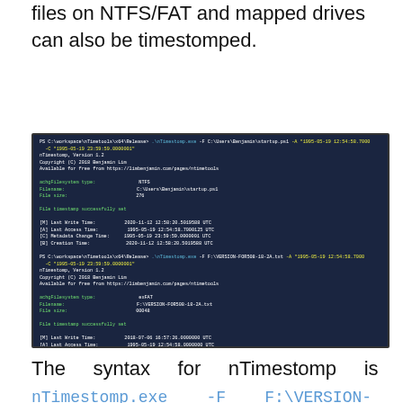files on NTFS/FAT and mapped drives can also be timestomped.
[Figure (screenshot): Terminal/PowerShell output showing nTimestomp.exe being used to timestomp files on NTFS and exFAT filesystems, displaying timestamp manipulation results including Last Write Time, Last Access Time, Metadata Change Time, and Creation Time fields.]
The syntax for nTimestomp is nTimestomp.exe -F F:\VERSION-FOR508-18-2A.txt -M "1995-05-19